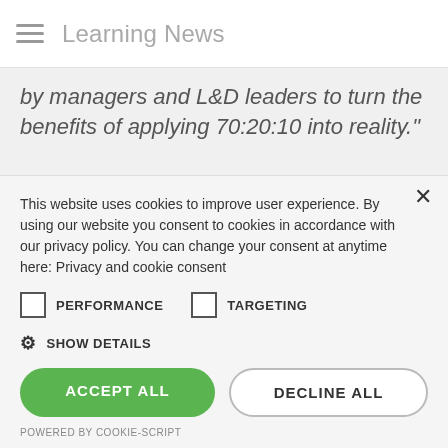Learning News
by managers and L&D leaders to turn the benefits of applying 70:20:10 into reality."
Claudio Erba, CEO of Docebo, adds, "People learn and retain more through informal channels than they do through more formal means. This study presents a clear
This website uses cookies to improve user experience. By using our website you consent to cookies in accordance with our privacy policy. You can change your consent at anytime here: Privacy and cookie consent
PERFORMANCE   TARGETING
SHOW DETAILS
ACCEPT ALL
DECLINE ALL
POWERED BY COOKIE-SCRIPT